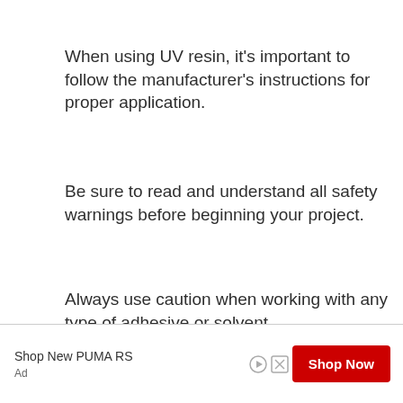When using UV resin, it’s important to follow the manufacturer’s instructions for proper application.
Be sure to read and understand all safety warnings before beginning your project.
Always use caution when working with any type of adhesive or solvent.
[Figure (other): Advertisement banner: Shop New PUMA RS with a red Shop Now button, play and close icons, and Ad label.]